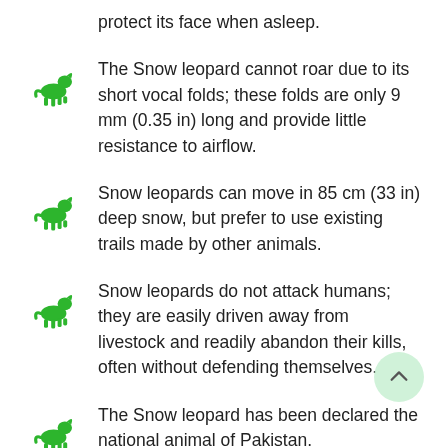protect its face when asleep.
The Snow leopard cannot roar due to its short vocal folds; these folds are only 9 mm (0.35 in) long and provide little resistance to airflow.
Snow leopards can move in 85 cm (33 in) deep snow, but prefer to use existing trails made by other animals.
Snow leopards do not attack humans; they are easily driven away from livestock and readily abandon their kills, often without defending themselves.
The Snow leopard has been declared the national animal of Pakistan.